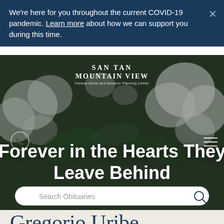We're here for you throughout the current COVID-19 pandemic. Learn more about how we can support you during this time.
[Figure (screenshot): San Tan Mountain View Funeral Home and Advance Planning Center website hero banner with white flowers background]
Forever in the Hearts They Leave Behind
Search Obituaries
Gregorio Uribe Marquez